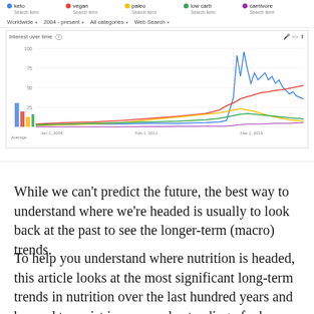[Figure (screenshot): Google Trends screenshot showing interest over time for search terms: keto (blue), vegan (red), paleo (yellow), low carb (green), carnivore (purple). The chart spans 2004 to present, showing a dramatic rise in keto searches around 2018-2019. The interface shows filters: Worldwide, 2004-present, All categories, Web Search.]
While we can't predict the future, the best way to understand where we're headed is usually to look back at the past to see the longer-term (macro) trends.
To help you understand where nutrition is headed, this article looks at the most significant long-term trends in nutrition over the last hundred years and beyond to assist in your understanding of why they